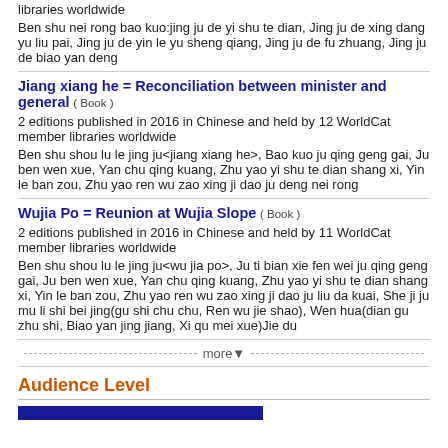libraries worldwide
Ben shu nei rong bao kuo:jing ju de yi shu te dian, Jing ju de xing dang yu liu pai, Jing ju de yin le yu sheng qiang, Jing ju de fu zhuang, Jing ju de biao yan deng
Jiang xiang he = Reconciliation between minister and general ( Book )
2 editions published in 2016 in Chinese and held by 12 WorldCat member libraries worldwide
Ben shu shou lu le jing ju<jiang xiang he>, Bao kuo ju qing geng gai, Ju ben wen xue, Yan chu qing kuang, Zhu yao yi shu te dian shang xi, Yin le ban zou, Zhu yao ren wu zao xing ji dao ju deng nei rong
Wujia Po = Reunion at Wujia Slope ( Book )
2 editions published in 2016 in Chinese and held by 11 WorldCat member libraries worldwide
Ben shu shou lu le jing ju<wu jia po>, Ju ti bian xie fen wei ju qing geng gai, Ju ben wen xue, Yan chu qing kuang, Zhu yao yi shu te dian shang xi, Yin le ban zou, Zhu yao ren wu zao xing ji dao ju liu da kuai, She ji ju mu li shi bei jing(gu shi chu chu, Ren wu jie shao), Wen hua(dian gu zhu shi, Biao yan jing jiang, Xi qu mei xue)Jie du
more▼
Audience Level